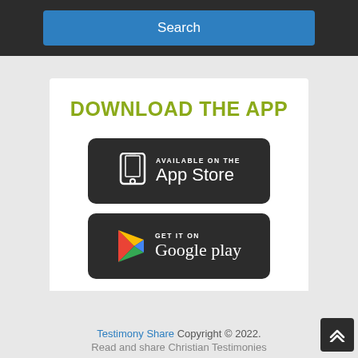[Figure (screenshot): Blue Search button on dark background]
DOWNLOAD THE APP
[Figure (screenshot): App Store download badge - black rounded rectangle with phone icon and text 'AVAILABLE ON THE App Store']
[Figure (screenshot): Google Play download badge - black rounded rectangle with Google Play triangle logo and text 'GET IT ON Google play']
Testimony Share Copyright © 2022. Read and share Christian Testimonies